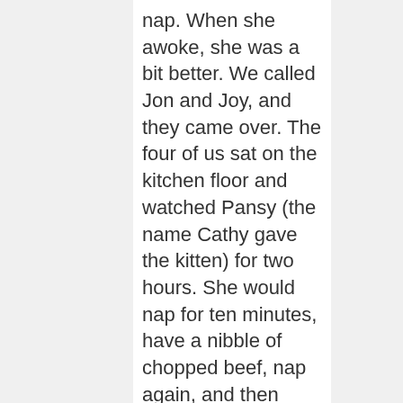nap. When she awoke, she was a bit better. We called Jon and Joy, and they came over. The four of us sat on the kitchen floor and watched Pansy (the name Cathy gave the kitten) for two hours. She would nap for ten minutes, have a nibble of chopped beef, nap again, and then repeat the